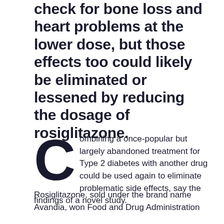check for bone loss and heart problems at the lower dose, but those effects too could likely be eliminated or lessened by reducing the dosage of rosiglitazone.
Combining a once-popular but largely abandoned treatment for Type 2 diabetes with another drug could be used again to eliminate problematic side effects, say the findings of a novel study.
Rosiglitazone, sold under the brand name Avandia, won Food and Drug Administration